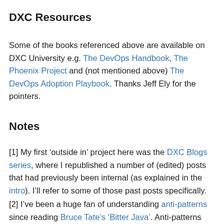DXC Resources
Some of the books referenced above are available on DXC University e.g. The DevOps Handbook, The Phoenix Project and (not mentioned above) The DevOps Adoption Playbook. Thanks Jeff Ely for the pointers.
Notes
[1] My first ‘outside in’ project here was the DXC Blogs series, where I republished a number of (edited) posts that had previously been internal (as explained in the intro). I’ll refer to some of those past posts specifically.
[2] I’ve been a huge fan of understanding anti-patterns since reading Bruce Tate’s ‘Bitter Java’. Anti-patterns are